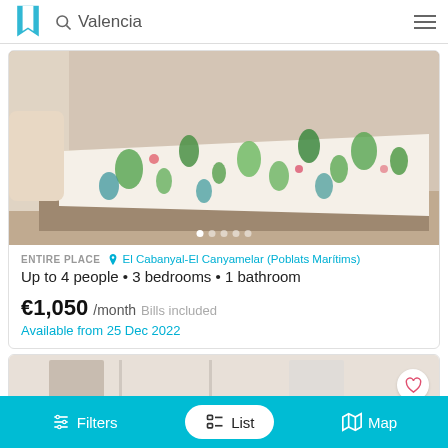Valencia
[Figure (photo): Bedroom photo showing a bed with a cactus-patterned bedspread/throw in white, green, and pink colors. The room has tiled floors and white walls.]
ENTIRE PLACE   El Cabanyal-El Canyamelar (Poblats Marítims)
Up to 4 people • 3 bedrooms • 1 bathroom
€1,050 /month   Bills included
Available from 25 Dec 2022
[Figure (photo): Partial view of a second listing photo showing a bright interior room.]
Filters   List   Map